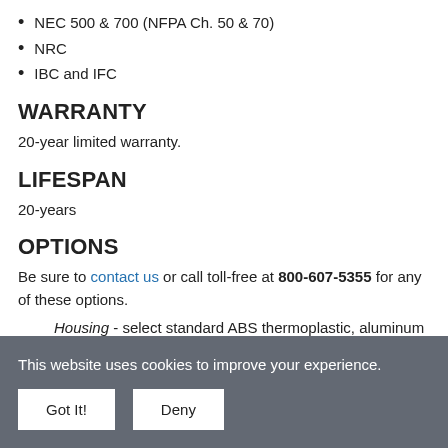NEC 500 & 700 (NFPA Ch. 50 & 70)
NRC
IBC and IFC
WARRANTY
20-year limited warranty.
LIFESPAN
20-years
OPTIONS
Be sure to contact us or call toll-free at 800-607-5355 for any of these options.
Housing - select standard ABS thermoplastic, aluminum or vandal-proof housing.
This website uses cookies to improve your experience.